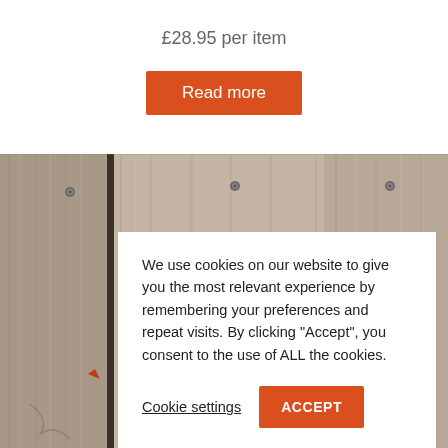£28.95 per item
Read more
[Figure (photo): Weathered grey wooden fence boards with nails, close-up texture photo]
We use cookies on our website to give you the most relevant experience by remembering your preferences and repeat visits. By clicking "Accept", you consent to the use of ALL the cookies.
Cookie settings
ACCEPT